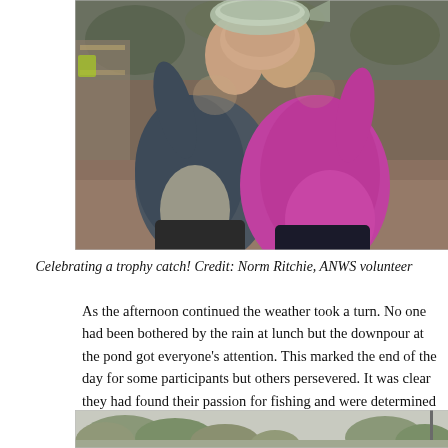[Figure (photo): Two people holding up a fish (trophy catch) toward the camera, obscuring their faces. One wears a dark grey/blue jacket, the other a bright magenta/pink jacket. They are outdoors on a rainy day.]
Celebrating a trophy catch! Credit: Norm Ritchie, ANWS volunteer
As the afternoon continued the weather took a turn. No one had been bothered by the rain at lunch but the downpour at the pond got everyone's attention. This marked the end of the day for some participants but others persevered. It was clear they had found their passion for fishing and were determined to keep going.
[Figure (photo): Partial view of an outdoor scene with trees and what appears to be a fishing pond area, cut off at the bottom of the page.]